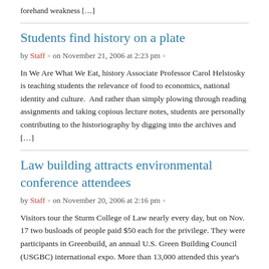forehand weakness […]
Students find history on a plate
by Staff × on November 21, 2006 at 2:23 pm ×
In We Are What We Eat, history Associate Professor Carol Helstosky is teaching students the relevance of food to economics, national identity and culture.  And rather than simply plowing through reading assignments and taking copious lecture notes, students are personally contributing to the historiography by digging into the archives and […]
Law building attracts environmental conference attendees
by Staff × on November 20, 2006 at 2:16 pm ×
Visitors tour the Sturm College of Law nearly every day, but on Nov. 17 two busloads of people paid $50 each for the privilege. They were participants in Greenbuild, an annual U.S. Green Building Council (USGBC) international expo. More than 13,000 attended this year's